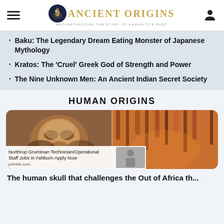Ancient Origins — Reconstructing the story of humanity's past
Baku: The Legendary Dream Eating Monster of Japanese Mythology
Kratos: The 'Cruel' Greek God of Strength and Power
The Nine Unknown Men: An Ancient Indian Secret Society
HUMAN ORIGINS
[Figure (photo): Two photos side by side: left shows an ancient human skull/face artifact in brown tones; right shows cave stalactites/formations in orange-brown tones]
Northrop Grumman Technician/Operational Staff Jobs in Ashburn Apply Now
jobbble.com
The human skull that challenges the Out of Africa th...